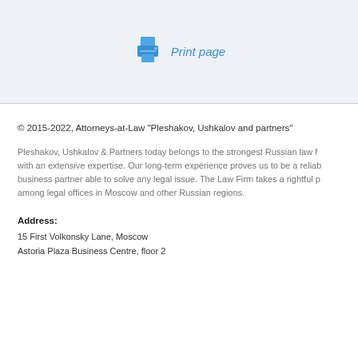[Figure (other): Blue printer icon representing a print function]
Print page
© 2015-2022, Attorneys-at-Law "Pleshakov, Ushkalov and partners"
Pleshakov, Ushkalov & Partners today belongs to the strongest Russian law firms with an extensive expertise. Our long-term experience proves us to be a reliable business partner able to solve any legal issue. The Law Firm takes a rightful place among legal offices in Moscow and other Russian regions.
Address:
15 First Volkonsky Lane, Moscow
Astoria Plaza Business Centre, floor 2